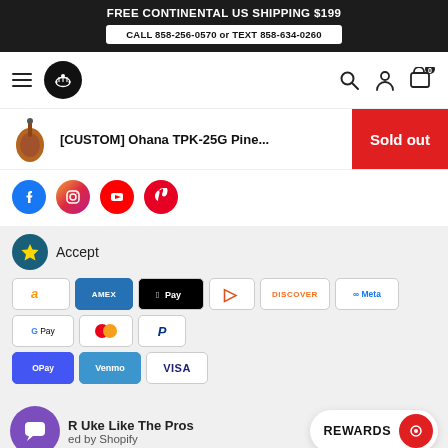FREE CONTINENTAL US SHIPPING $199
CALL 858-256-0570 or TEXT 858-634-0260
[Figure (screenshot): Navigation bar with hamburger menu, guitar logo, search icon, user icon, and cart with 0 items]
[Figure (screenshot): Product bar showing [CUSTOM] Ohana TPK-25G Pine... with Sold out red button]
[Figure (screenshot): Social media icons row: Facebook, Instagram, YouTube, Pinterest]
[Figure (screenshot): We Accept section with payment method logos: Amazon Pay, Amex, Apple Pay, Diners, Discover, Meta Pay, Google Pay, Mastercard, PayPal, OPay, Venmo, Visa]
R Uke Like The Pros
ed by Shopify
REWARDS